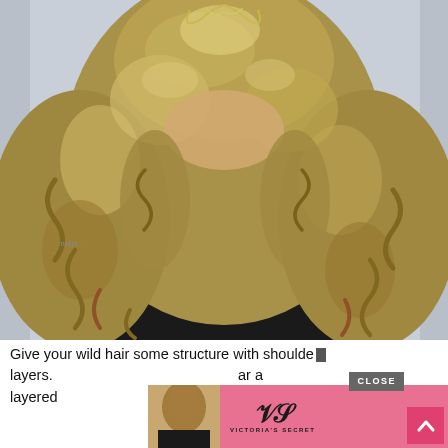[Figure (photo): Portrait photo of a young woman with long, voluminous, curly blonde/brown hair wearing a black top, photographed against a light blue-gray background. The curly hair frames her face prominently.]
Give your wild hair some structure with shoulder-length layers. [advertisement overlay] layered...
[Figure (photo): Victoria's Secret advertisement bar showing a model with curly hair on the left, the Victoria's Secret script logo in center-left, 'SHOP THE COLLECTION' text in center, 'SHOP NOW' white button on right, and a CLOSE button at top-right. The ad bar has a pink/salmon background.]